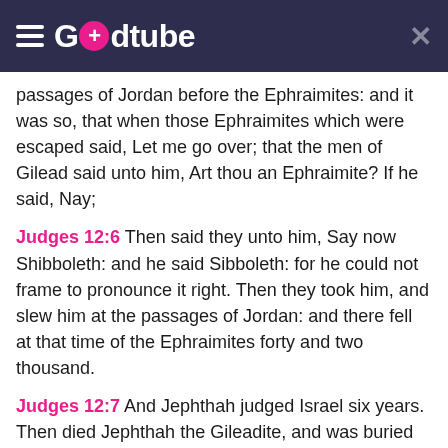Godtube
passages of Jordan before the Ephraimites: and it was so, that when those Ephraimites which were escaped said, Let me go over; that the men of Gilead said unto him, Art thou an Ephraimite? If he said, Nay;
Judges 12:6 Then said they unto him, Say now Shibboleth: and he said Sibboleth: for he could not frame to pronounce it right. Then they took him, and slew him at the passages of Jordan: and there fell at that time of the Ephraimites forty and two thousand.
Judges 12:7 And Jephthah judged Israel six years. Then died Jephthah the Gileadite, and was buried in one of the cities of Gilead.
Judges 12:8 And after him Ibzan of Bethlehem judged Israel.
Judges 12:9 And he had thirty sons, and thirty daughters, whom he sent abroad, and took in thirty daughters from abroad for his sons. And he judged Israel seven years.